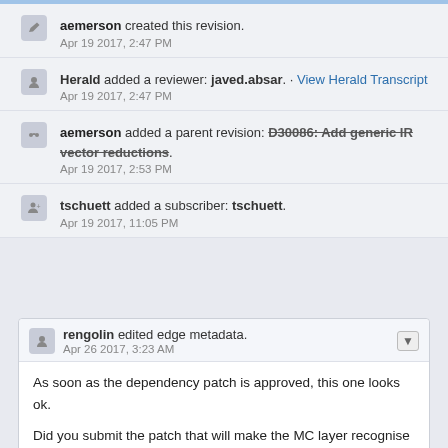aemerson created this revision. Apr 19 2017, 2:47 PM
Herald added a reviewer: javed.absar. · View Herald Transcript Apr 19 2017, 2:47 PM
aemerson added a parent revision: D30086: Add generic IR vector reductions. Apr 19 2017, 2:53 PM
tschuett added a subscriber: tschuett. Apr 19 2017, 11:05 PM
rengolin edited edge metadata. Apr 26 2017, 3:23 AM
As soon as the dependency patch is approved, this one looks ok.
Did you submit the patch that will make the MC layer recognise these patterns into the actual instructions?
lib/Target/AArch64/AArch64TargetTransformInfo.cpp